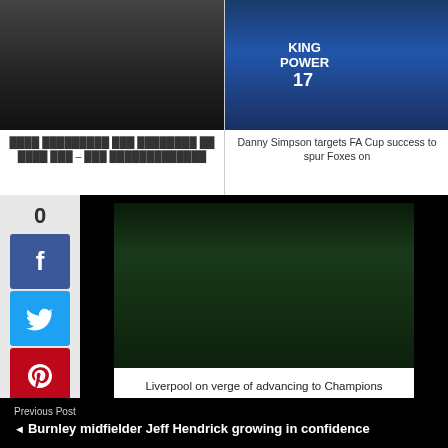[Figure (photo): Photo of a person in dark jacket (manager/coach), cropped top half]
Jose Mourinho and Chelsea – and the relationship
[Figure (photo): Danny Simpson in Leicester City blue kit with number 17, King Power jersey]
Danny Simpson targets FA Cup success to spur Foxes on
0
[Figure (photo): Two football players, one in yellow Villarreal kit and one in blue kit, competing for the ball on grass pitch at night]
Liverpool on verge of advancing to Champions League final after beating Villarreal
Previous Post
Burnley midfielder Jeff Hendrick growing in confidence